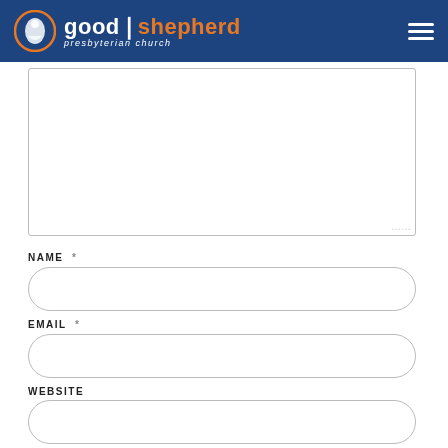good shepherd presbyterian church
[Figure (screenshot): Textarea input box (empty, resizable) at top of form]
NAME *
[Figure (screenshot): Rounded rectangle text input field for NAME]
EMAIL *
[Figure (screenshot): Rounded rectangle text input field for EMAIL]
WEBSITE
[Figure (screenshot): Rounded rectangle text input field for WEBSITE]
Save my name, email, and website in this browser for the next time I comment.